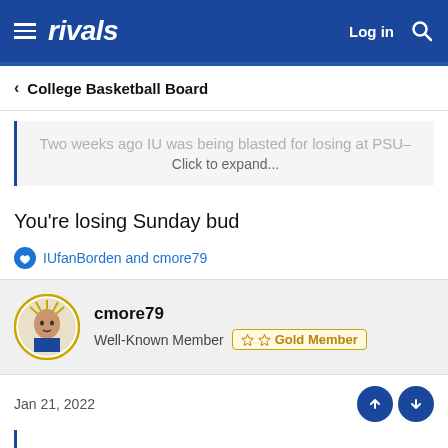rivals — Log in
< College Basketball Board
Two weeks ago IU was being blasted for losing at PSU– Click to expand...
You're losing Sunday bud
IUfanBorden and cmore79
cmore79 — Well-Known Member — Gold Member
Jan 21, 2022